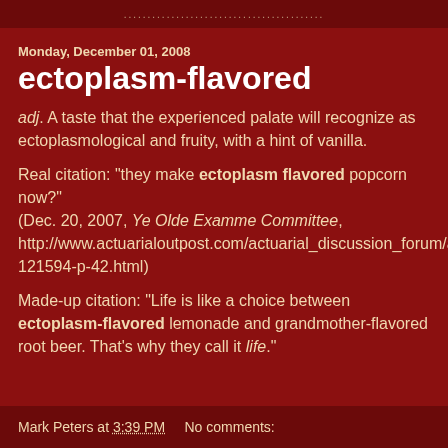..........................................
Monday, December 01, 2008
ectoplasm-flavored
adj. A taste that the experienced palate will recognize as ectoplasmological and fruity, with a hint of vanilla.
Real citation: "they make ectoplasm flavored popcorn now?"
(Dec. 20, 2007, Ye Olde Examme Committee, http://www.actuarialoutpost.com/actuarial_discussion_forum/archive/index.php/t-121594-p-42.html)
Made-up citation: "Life is like a choice between ectoplasm-flavored lemonade and grandmother-flavored root beer. That's why they call it life."
Mark Peters at 3:39 PM   No comments: